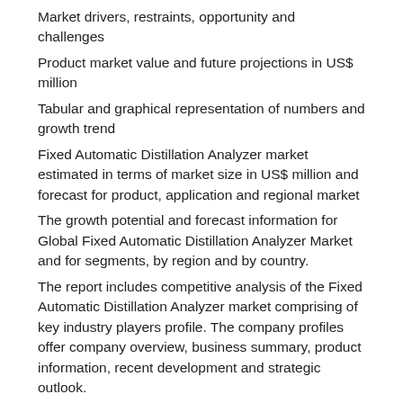Market drivers, restraints, opportunity and challenges
Product market value and future projections in US$ million
Tabular and graphical representation of numbers and growth trend
Fixed Automatic Distillation Analyzer market estimated in terms of market size in US$ million and forecast for product, application and regional market
The growth potential and forecast information for Global Fixed Automatic Distillation Analyzer Market and for segments, by region and by country.
The report includes competitive analysis of the Fixed Automatic Distillation Analyzer market comprising of key industry players profile. The company profiles offer company overview, business summary, product information, recent development and strategic outlook.